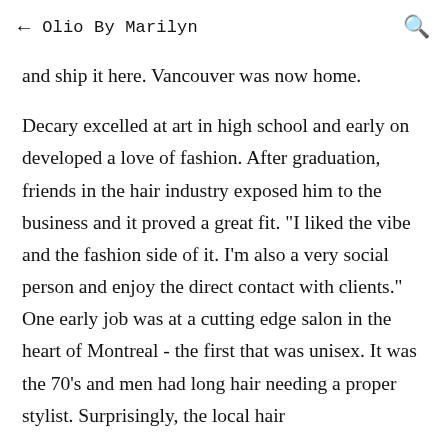← Olio By Marilyn 🔍
and ship it here. Vancouver was now home.
Decary excelled at art in high school and early on developed a love of fashion. After graduation, friends in the hair industry exposed him to the business and it proved a great fit. "I liked the vibe and the fashion side of it. I'm also a very social person and enjoy the direct contact with clients." One early job was at a cutting edge salon in the heart of Montreal - the first that was unisex. It was the 70's and men had long hair needing a proper stylist. Surprisingly, the local hair